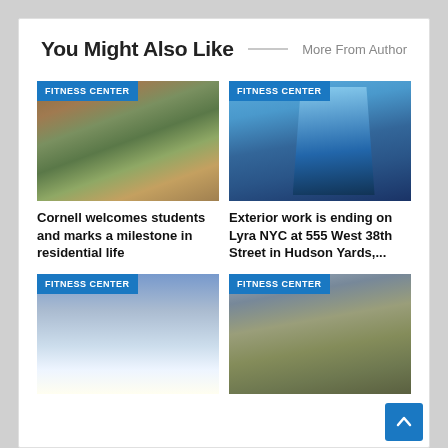You Might Also Like
More From Author
[Figure (photo): Aerial view of Cornell university campus buildings with green trees and brick structures]
FITNESS CENTER
Cornell welcomes students and marks a milestone in residential life
[Figure (photo): Glass skyscraper viewed from below against blue sky at 555 West 38th Street in Hudson Yards NYC]
FITNESS CENTER
Exterior work is ending on Lyra NYC at 555 West 38th Street in Hudson Yards,...
[Figure (photo): Stadium or sports facility exterior at sunset with light glow]
FITNESS CENTER
[Figure (photo): Brown and green apartment building exterior with parking lot]
FITNESS CENTER